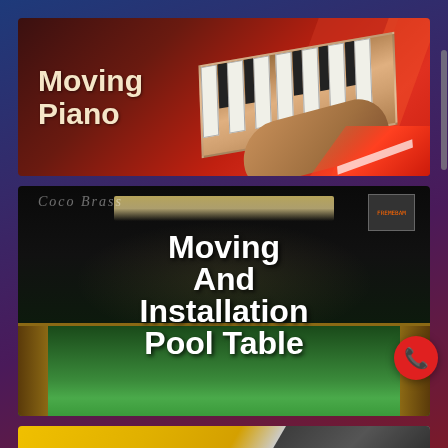[Figure (illustration): Moving Piano promotional banner with bold text 'Moving Piano' on dark red background with piano keys and hands imagery]
[Figure (illustration): Moving And Installation Pool Table promotional banner showing illuminated pool/billiards table on dark background with white bold text]
[Figure (illustration): Partial bottom banner card with yellow and gray background, US flag icon, partially visible text]